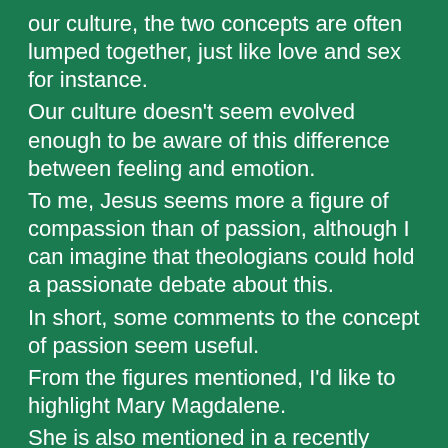our culture, the two concepts are often lumped together, just like love and sex for instance.
Our culture doesn't seem evolved enough to be aware of this difference between feeling and emotion.
To me, Jesus seems more a figure of compassion than of passion, although I can imagine that theologians could hold a passionate debate about this.
In short, some comments to the concept of passion seem useful.
From the figures mentioned, I'd like to highlight Mary Magdalene.
She is also mentioned in a recently published book by professor in theology Auke Jelsma.
The book is called: "doorgevingen van Jezus."
Jesus appears to Auke Jelsma in a sort of vision, and also speaks about who Mary Magdalene really was. It appears that Mary Magdalene was a paranormally highly developed person. And it also shows how they were connected.